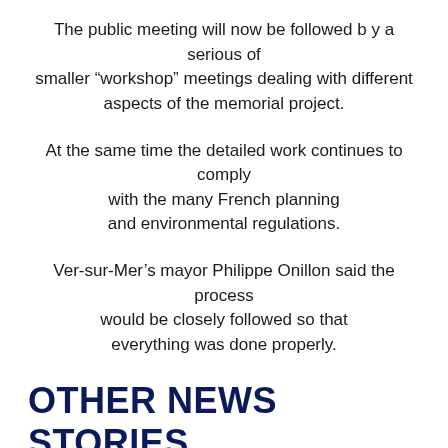The public meeting will now be followed b y a serious of smaller “workshop” meetings dealing with different aspects of the memorial project.
At the same time the detailed work continues to comply with the many French planning and environmental regulations.
Ver-sur-Mer’s mayor Philippe Onillon said the process would be closely followed so that everything was done properly.
OTHER NEWS STORIES
[Figure (photo): Black and white photograph showing a person wearing a black military beret with a badge/insignia, partially cropped]